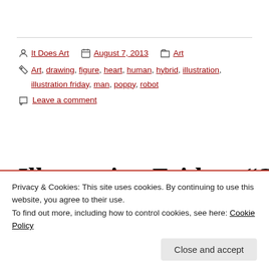It Does Art   August 7, 2013   Art
Art, drawing, figure, heart, human, hybrid, illustration, illustration friday, man, poppy, robot
Leave a comment
Illustration Friday: “Swim”
Privacy & Cookies: This site uses cookies. By continuing to use this website, you agree to their use.
To find out more, including how to control cookies, see here: Cookie Policy